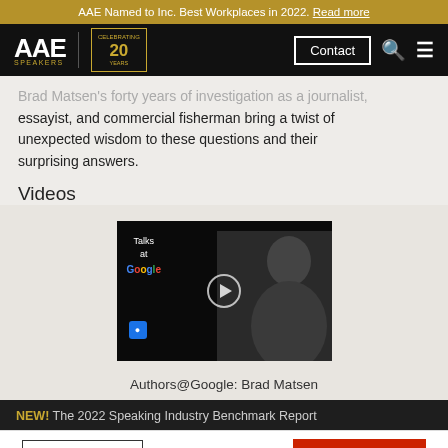AAE Named to Inc. Best Workplaces in 2022. Read more
[Figure (screenshot): AAE Speakers navigation bar with logo, 20 Years badge, Contact button, search and menu icons]
Brad Matsen's forty years of investigation as a journalist, essayist, and commercial fisherman bring a twist of unexpected wisdom to these questions and their surprising answers.
Videos
[Figure (screenshot): Video thumbnail showing Talks at Google with Brad Matsen speaker]
Authors@Google: Brad Matsen
NEW! The 2022 Speaking Industry Benchmark Report
1.800.698.2536   CONTACT US